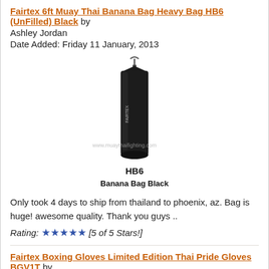Fairtex 6ft Muay Thai Banana Bag Heavy Bag HB6 (UnFilled) Black by Ashley Jordan
Date Added: Friday 11 January, 2013
[Figure (photo): Product image of Fairtex HB6 Banana Bag Black heavy punching bag, tall and cylindrical, hanging from a hook. Text on image: www.muaythaifighting.com. Below the bag image text reads: HB6 Banana Bag Black]
Only took 4 days to ship from thailand to phoenix, az. Bag is huge! awesome quality. Thank you guys ..
Rating: ★★★★★ [5 of 5 Stars!]
Fairtex Boxing Gloves Limited Edition Thai Pride Gloves BGV1T by Jonathan Park
Date Added: Friday 28 December, 2012